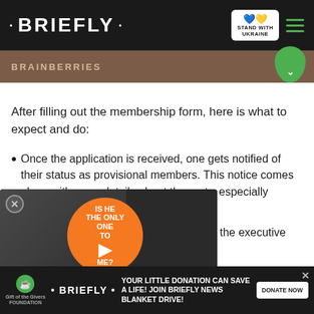• BRIEFLY • | STAND WITH UKRAINE
BRAINBERRIES
After filling out the membership form, here is what to expect and do:
Once the application is received, one gets notified of their status as provisional members. This notice comes along with more details about the party, especially regarding your branch.
All applications are deliberated upon by the executive ...egion as well as any other...
...a provisional member gains the ...in 8 weeks.
...membership card...
YOUR LITTLE DONATION CAN SAVE A LIFE! JOIN BRIEFLY NEWS BLANKET DRIVE! | DONATE NOW